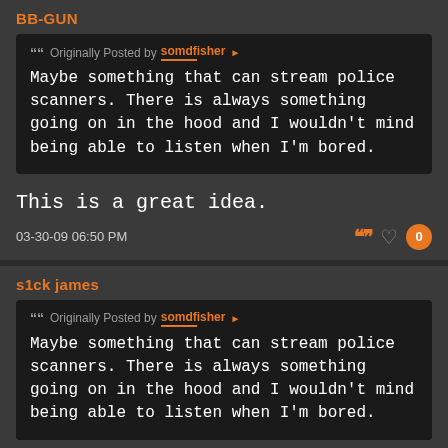BB-GUN
Originally Posted by somdfisher
Maybe something that can stream police scanners. There is always something going on in the hood and I wouldn't mind being able to listen when I'm bored.
This is a great idea.
03-30-09 06:50 PM
s1ck james
Originally Posted by somdfisher
Maybe something that can stream police scanners. There is always something going on in the hood and I wouldn't mind being able to listen when I'm bored.